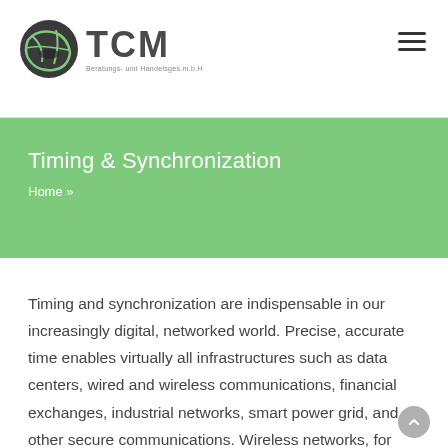TCM Beratungs- und Handelsges.m.b.H — navigation header with logo and hamburger menu
Timing & Synchronization
Home »
Timing and synchronization are indispensable in our increasingly digital, networked world. Precise, accurate time enables virtually all infrastructures such as data centers, wired and wireless communications, financial exchanges, industrial networks, smart power grid, and other secure communications. Wireless networks, for example, rely on highly accurate timing and synchronization for smooth cell-to-cell transfers of the